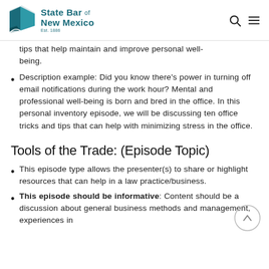State Bar of New Mexico
tips that help maintain and improve personal well-being.
Description example: Did you know there's power in turning off email notifications during the work hour? Mental and professional well-being is born and bred in the office. In this personal inventory episode, we will be discussing ten office tricks and tips that can help with minimizing stress in the office.
Tools of the Trade: (Episode Topic)
This episode type allows the presenter(s) to share or highlight resources that can help in a law practice/business.
This episode should be informative: Content should be a discussion about general business methods and management, experiences in